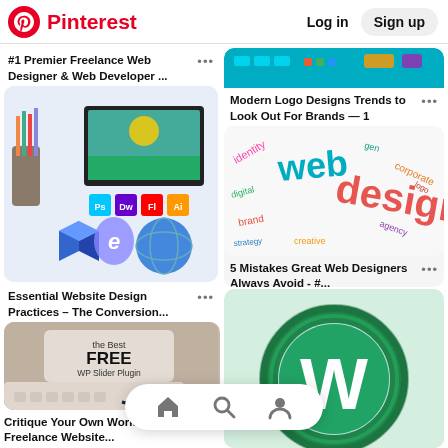Pinterest  Log in  Sign up
#1 Premier Freelance Web Designer & Web Developer ...
[Figure (photo): Web design tools collage: pencils, Adobe software icons (Ps, Dw, Fl, Ai), 3D globe, blue cube, Internet Explorer letter e]
Essential Website Design Practices – The Conversion...
[Figure (photo): Free WP Slider Plugin - keyboard and glasses on desk with text overlay]
Critique Your Own Work – The Free Freelance Website...
[Figure (screenshot): Modern Logo Designs Trends - teal toolbar screenshot]
Modern Logo Designs Trends to Look Out For Brands — 1
[Figure (illustration): Web design word cloud with words: web, design, corporate, identity, etc. in colorful text]
5 Mistakes Great Web Designers Always Avoid - #...
[Figure (logo): WordPress logo - green/teal W icon in circle]